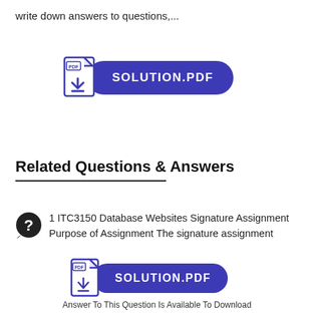write down answers to questions,...
[Figure (other): SOLUTION.PDF download button with PDF icon]
Related Questions & Answers
1 ITC3150 Database Websites Signature Assignment Purpose of Assignment The signature assignment
[Figure (other): SOLUTION.PDF download button with PDF icon (smaller version)]
Answer To This Question Is Available To Download